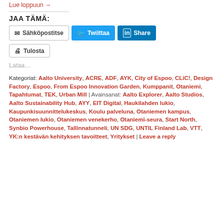Lue loppuun →
JAA TÄMÄ:
[Figure (other): Share buttons: Sähköpostitse (email), Twiittaa (Twitter), Share (LinkedIn), Tulosta (Print)]
Lataa...
Kategoriat: Aalto University, ACRE, ADF, AYK, City of Espoo, CLiC!, Design Factory, Espoo, From Espoo Innovation Garden, Kumppanit, Otaniemi, Tapahtumat, TEK, Urban Mill | Avainsanat: Aalto Explorer, Aalto Studios, Aalto Sustainability Hub, AYY, EIT Digital, Haukilahden lukio, Kaupunkisuunnittelukeskus, Koulu palveluna, Otaniemen kampus, Otaniemen lukio, Otaniemen venekerho, Otaniemi-seura, Start North, Synbio Powerhouse, Tallinnatunneli, UN SDG, UNTIL Finland Lab, VTT, YK:n kestävän kehityksen tavoitteet, Yritykset | Leave a reply